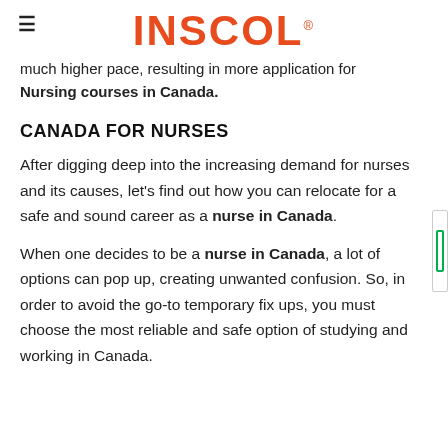INSCOL
much higher pace, resulting in more application for Nursing courses in Canada.
CANADA FOR NURSES
After digging deep into the increasing demand for nurses and its causes, let's find out how you can relocate for a safe and sound career as a nurse in Canada.
When one decides to be a nurse in Canada, a lot of options can pop up, creating unwanted confusion. So, in order to avoid the go-to temporary fix ups, you must choose the most reliable and safe option of studying and working in Canada.